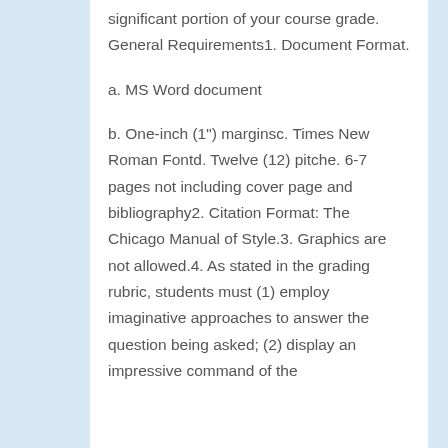significant portion of your course grade. General Requirements1. Document Format.
a. MS Word document
b. One-inch (1") marginsc. Times New Roman Fontd. Twelve (12) pitche. 6-7 pages not including cover page and bibliography2. Citation Format: The Chicago Manual of Style.3. Graphics are not allowed.4. As stated in the grading rubric, students must (1) employ imaginative approaches to answer the question being asked; (2) display an impressive command of the